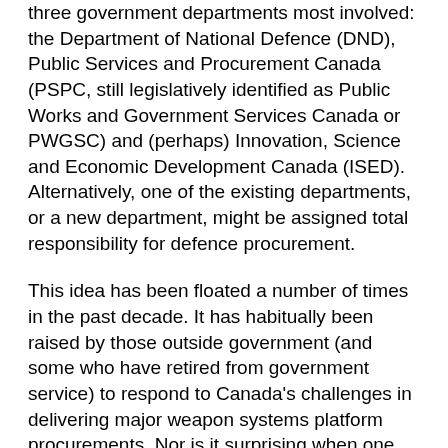three government departments most involved: the Department of National Defence (DND), Public Services and Procurement Canada (PSPC, still legislatively identified as Public Works and Government Services Canada or PWGSC) and (perhaps) Innovation, Science and Economic Development Canada (ISED). Alternatively, one of the existing departments, or a new department, might be assigned total responsibility for defence procurement.
This idea has been floated a number of times in the past decade. It has habitually been raised by those outside government (and some who have retired from government service) to respond to Canada's challenges in delivering major weapon systems platform procurements. Nor is it surprising when one notes that no other Western nation has such a degree of shared responsibilities for the development and execution of complex acquisition initiatives typically costing $1 billion or more. The lament is a familiar refrain of achieving singular accountability at reduced levels of bureaucracy for military procurement.
Having spent a dozen years (2005-2017) with various